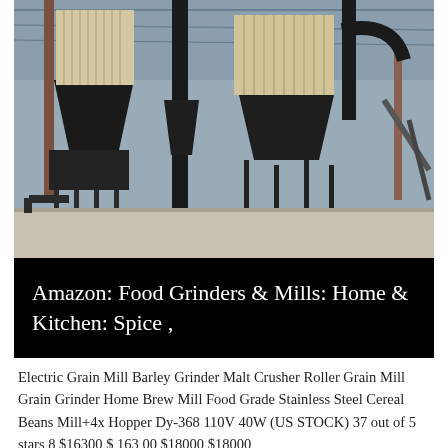[Figure (photo): Industrial grain milling facility interior showing large black industrial grain mill machines with hanging filter bags/cartridges, hopper funnels, metal supports and ductwork, inside a warehouse with concrete floor and metal roof structure.]
Amazon: Food Grinders & Mills: Home & Kitchen: Spice ,
Electric Grain Mill Barley Grinder Malt Crusher Roller Grain Mill Grain Grinder Home Brew Mill Food Grade Stainless Steel Cereal Beans Mill+4x Hopper Dy-368 110V 40W (US STOCK) 37 out of 5 stars 8 $16300 $ 163 00 $18000 $18000